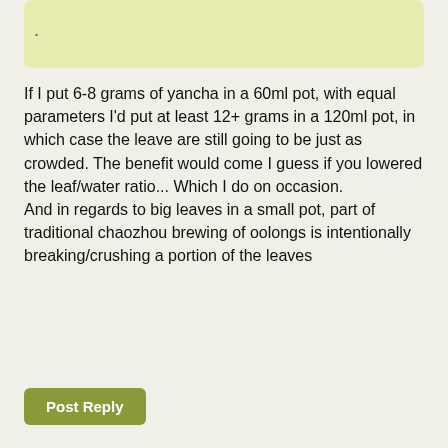.
If I put 6-8 grams of yancha in a 60ml pot, with equal parameters I'd put at least 12+ grams in a 120ml pot, in which case the leave are still going to be just as crowded. The benefit would come I guess if you lowered the leaf/water ratio... Which I do on occasion.
And in regards to big leaves in a small pot, part of traditional chaozhou brewing of oolongs is intentionally breaking/crushing a portion of the leaves
Post Reply
jayinhk
Apr 12th, '16, 20:16
Re: Yunnan sourcings Yancha